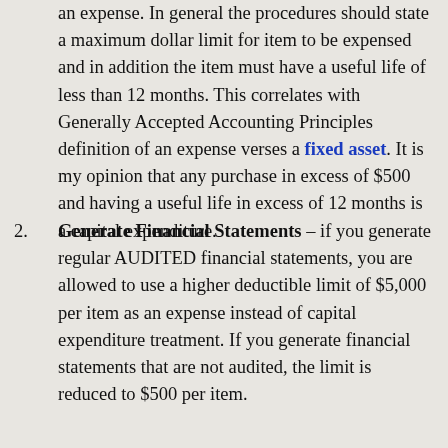an expense. In general the procedures should state a maximum dollar limit for item to be expensed and in addition the item must have a useful life of less than 12 months. This correlates with Generally Accepted Accounting Principles definition of an expense verses a fixed asset. It is my opinion that any purchase in excess of $500 and having a useful life in excess of 12 months is a capital expenditure.
Generate Financial Statements – if you generate regular AUDITED financial statements, you are allowed to use a higher deductible limit of $5,000 per item as an expense instead of capital expenditure treatment. If you generate financial statements that are not audited, the limit is reduced to $500 per item.